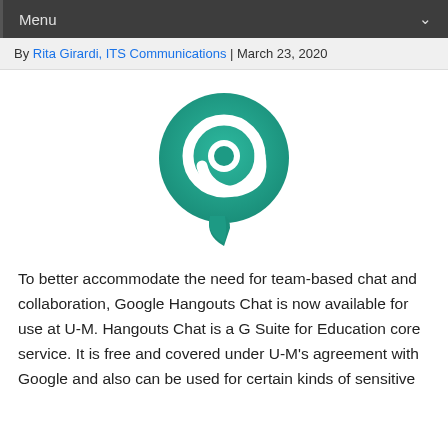Menu
By Rita Girardi, ITS Communications | March 23, 2020
[Figure (logo): Google Hangouts Chat logo: a teal/green speech bubble with a white @ symbol inside]
To better accommodate the need for team-based chat and collaboration, Google Hangouts Chat is now available for use at U-M. Hangouts Chat is a G Suite for Education core service. It is free and covered under U-M's agreement with Google and also can be used for certain kinds of sensitive